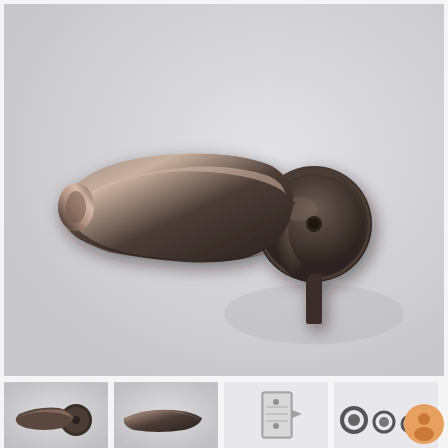[Figure (photo): A dark bronze/gunmetal colored door lever handle on a round rose/backplate. The lever is a modern, sleek design with a tapered form, photographed against a light grey background. The handle has a brushed metallic sheen.]
[Figure (photo): Thumbnail 1: Close-up of the door lever handle from a different angle, showing the round rose and lever detail.]
[Figure (photo): Thumbnail 2: Side profile view of the lever handle showing the sleek elongated lever form.]
[Figure (photo): Thumbnail 3: Photo showing the door handle hardware mechanism/latch set.]
[Figure (photo): Thumbnail 4: Photo showing the door handle components/accessories including rubber gaskets and fixings.]